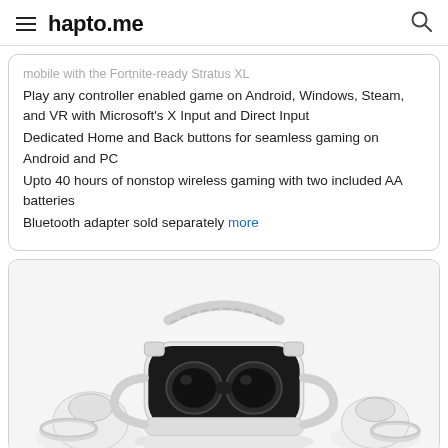hapto.me
Play any controller enabled game on Android, Windows, Steam, and VR with Microsoft's X Input and Direct Input
Dedicated Home and Back buttons for seamless gaming on Android and PC
Upto 40 hours of nonstop wireless gaming with two included AA batteries
Bluetooth adapter sold separately more
[Figure (photo): VR headset (Oculus Quest 2 style) with two controllers, white/light gray color, displayed on white background inside a rounded card]